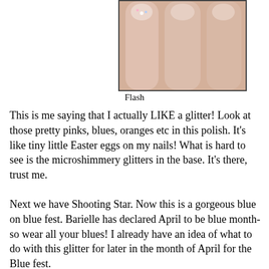[Figure (photo): Close-up photo of three fingers with glittery nail polish, showing pink, blue, and orange glitter particles. Taken with flash.]
Flash
This is me saying that I actually LIKE a glitter! Look at those pretty pinks, blues, oranges etc in this polish.  It's like tiny little Easter eggs on my nails!  What is hard to see is the microshimmery glitters in the base.  It's there, trust me.
Next we have Shooting Star.  Now this is a gorgeous blue on blue fest.  Barielle has declared April to be blue month-so wear all your blues!  I already have an idea of what to do with this glitter for later in the month of April for the Blue fest.
[Figure (photo): Close-up photo of fingers with blue glitter nail polish (Shooting Star), showing blue, black, and white glitter particles on a sheer base.]